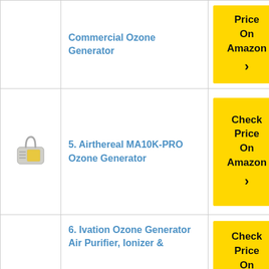| Image | Product Name | Buy |
| --- | --- | --- |
| [image] | 4. Enerzen Commercial Ozone Generator | Check Price On Amazon › |
| [ozone generator image] | 5. Airthereal MA10K-PRO Ozone Generator | Check Price On Amazon › |
|  | 6. Ivation Ozone Generator Air Purifier, Ionizer & | Check Price On Amazon › |